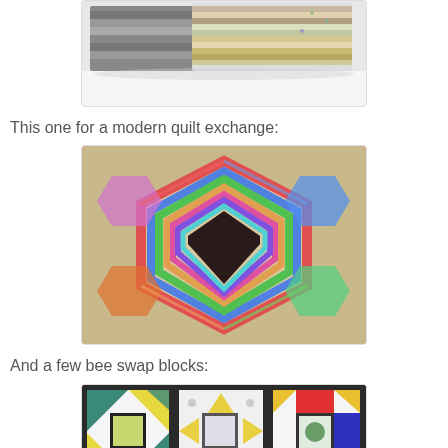[Figure (photo): Folded grey and patterned fabric stacked on a white surface]
This one for a modern quilt exchange:
[Figure (photo): Colorful spiral hexagon quilt block on a beige background with various patterned fabric strips]
And a few bee swap blocks:
[Figure (photo): Three quilt blocks displayed: left block has yellow and teal pinwheel with dark frame, center has diamond cross pattern, right has red and blue Ohio star block]